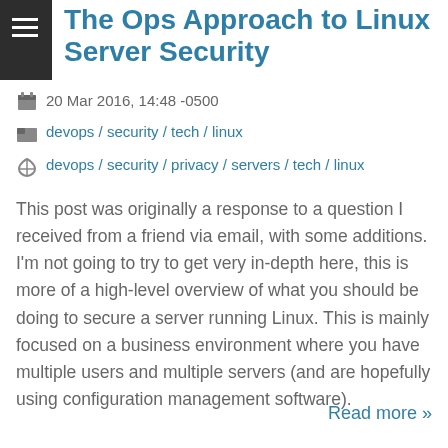The Ops Approach to Linux Server Security
20 Mar 2016, 14:48 -0500
devops / security / tech / linux
devops / security / privacy / servers / tech / linux
This post was originally a response to a question I received from a friend via email, with some additions. I'm not going to try to get very in-depth here, this is more of a high-level overview of what you should be doing to secure a server running Linux. This is mainly focused on a business environment where you have multiple users and multiple servers (and are hopefully using configuration management software).
Read more »